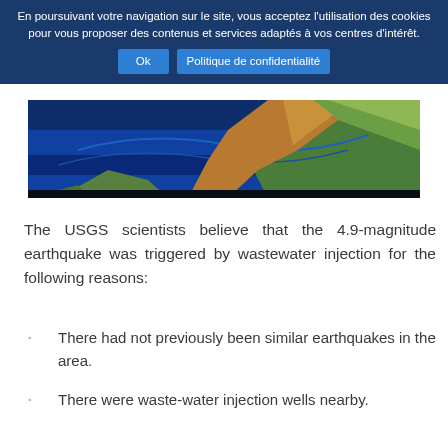En poursuivant votre navigation sur le site, vous acceptez l'utilisation des cookies pour vous proposer des contenus et services adaptés à vos centres d'intérêt.
[Figure (photo): Satellite or topographic map image showing ocean floor terrain and coastal landmasses with blue ocean and green/brown land.]
The USGS scientists believe that the 4.9-magnitude earthquake was triggered by wastewater injection for the following reasons:
There had not previously been similar earthquakes in the area.
There were waste-water injection wells nearby.